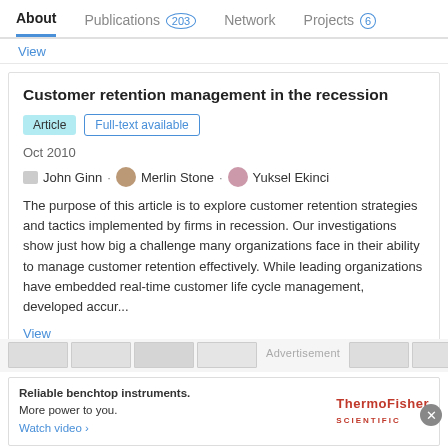About  Publications 203  Network  Projects 6
View
Customer retention management in the recession
Article   Full-text available
Oct 2010
John Ginn · Merlin Stone · Yuksel Ekinci
The purpose of this article is to explore customer retention strategies and tactics implemented by firms in recession. Our investigations show just how big a challenge many organizations face in their ability to manage customer retention effectively. While leading organizations have embedded real-time customer life cycle management, developed accur...
View
Advertisement
Reliable benchtop instruments.
More power to you.
Watch video ›